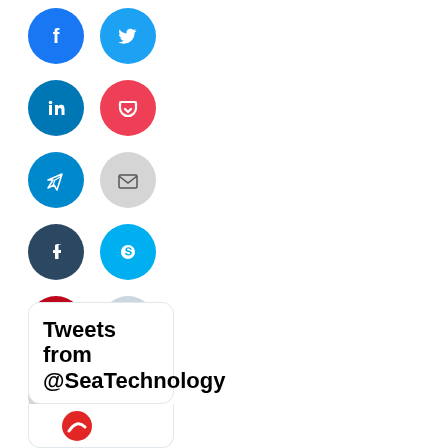[Figure (infographic): Grid of social media share buttons: Facebook (blue), Twitter (blue), LinkedIn (blue), Pocket (red/pink), Telegram (blue), Email (light gray), Tumblr (dark blue), Skype (light blue), Pinterest (red), Reddit (light blue/gray), Print (light gray), WhatsApp (green)]
Tweets from @SeaTechnology
[Figure (logo): Sea Technology logo (partial, red and white)]